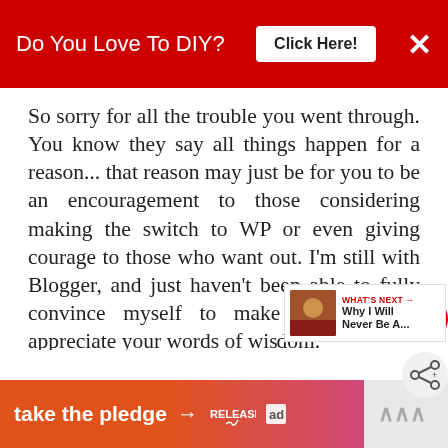Do You Love To DIY?   Click Here!   ×
So sorry for all the trouble you went through. You know they say all things happen for a reason... that reason may just be for you to be an encouragement to those considering making the switch to WP or even giving courage to those who want out. I'm still with Blogger, and just haven't been able to fully convince myself to make the move. I appreciate your words of wisdom.
Blessings,
Nici
[Figure (infographic): What's Next panel showing a thumbnail image and text 'Why I Will Never Be A...']
take the pledge →   RELEASE   [ad]